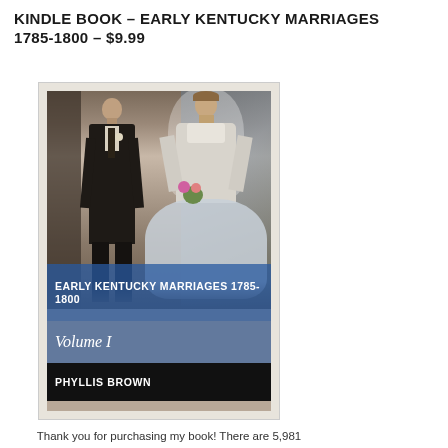KINDLE BOOK – EARLY KENTUCKY MARRIAGES 1785-1800 – $9.99
[Figure (photo): Book cover of 'Early Kentucky Marriages 1785-1800, Volume I' by Phyllis Brown. Shows a sepia-toned vintage wedding photograph of a groom in a dark suit standing beside a bride in a white wedding dress and veil. The cover has a blue band overlay showing the title 'EARLY KENTUCKY MARRIAGES 1785-1800', a lighter blue band with 'Volume I' in italic serif font, and a black band at the bottom with 'PHYLLIS BROWN' in white uppercase letters.]
Thank you for purchasing my book! There are 5,981 marriages listed. There is an alphabetical listing of those married, sorted by last name of groom, including the date of marriage. Volume I contains